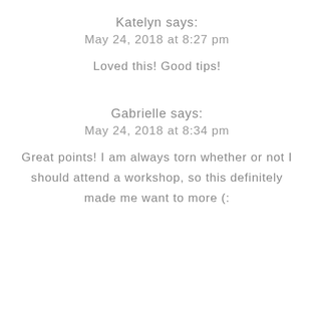Katelyn says:
May 24, 2018 at 8:27 pm
Loved this! Good tips!
Gabrielle says:
May 24, 2018 at 8:34 pm
Great points! I am always torn whether or not I should attend a workshop, so this definitely made me want to more (: